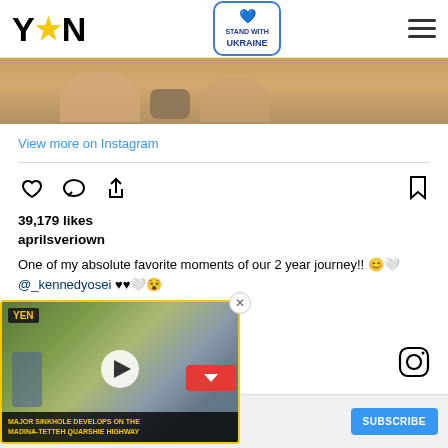YEN — STAND WITH UKRAINE
[Figure (photo): Partial photo showing feet/legs on a wooden floor, people sitting cross-legged]
View more on Instagram
39,179 likes
aprilsveriown
One of my absolute favorite moments of our 2 year journey!! 😊🤍 @_kennedyosei ♥♥🤍😵
[Figure (screenshot): Embedded video player with YEN logo showing news segment: MAJOR SINKHOLE DEVELOPS ON THE MADINA-TETTEH QUARSHIE HIGHWAY. Reporter standing on street, play button overlay, red minimize button]
[Figure (logo): Instagram camera icon at bottom right]
Bibi and Tina
Bibi and Tina - YouTube
SUBSCRIBE